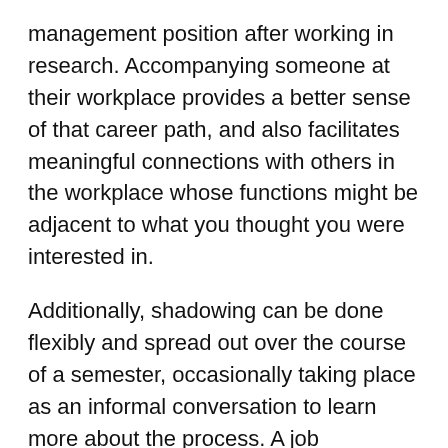management position after working in research. Accompanying someone at their workplace provides a better sense of that career path, and also facilitates meaningful connections with others in the workplace whose functions might be adjacent to what you thought you were interested in.
Additionally, shadowing can be done flexibly and spread out over the course of a semester, occasionally taking place as an informal conversation to learn more about the process. A job shadowing experience becomes even more meaningful if a deliverable is part of the experience so that you can try out the skills used. Sometimes, one experience leads to another more involved opportunity, as you can see in the examples below.